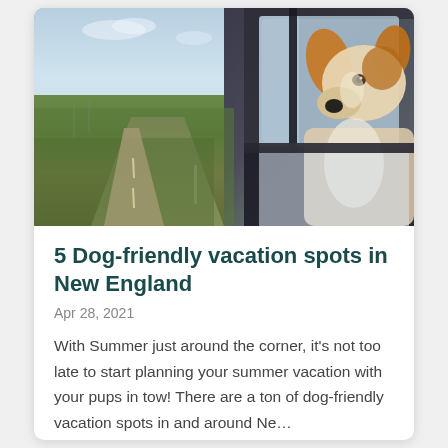[Figure (photo): A dog leaning out of a car window on an open road through green countryside, viewed from outside the car. The dog appears to be a beagle-type with brown, white and black coloring. Blue sky with clouds visible in background.]
5 Dog-friendly vacation spots in New England
Apr 28, 2021
With Summer just around the corner, it's not too late to start planning your summer vacation with your pups in tow! There are a ton of dog-friendly vacation spots in and around Ne...